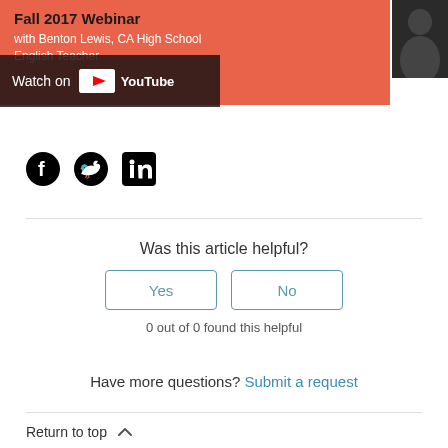[Figure (screenshot): Orange banner with Fall 2017 Webinar title and YouTube Watch on overlay, with person photo in top right corner. Text includes 'with Benton Lewis, CA High School English Teacher']
[Figure (infographic): Social media share icons: Facebook, Twitter, LinkedIn]
Was this article helpful?
Yes
No
0 out of 0 found this helpful
Have more questions? Submit a request
Return to top